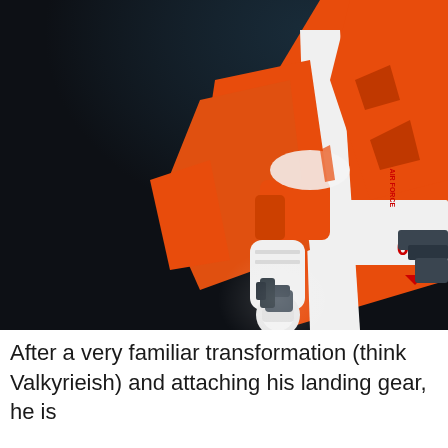[Figure (photo): Close-up photograph of an orange and white Gundam/mecha model figure against a dark background. The model features orange and white armor panels with markings reading 'KARABA AIR FORCE 018'. The figure is posed holding a dark-colored weapon/rifle, with complex mechanical joint details visible on the arm.]
After a very familiar transformation (think Valkyrieish) and attaching his landing gear, he is